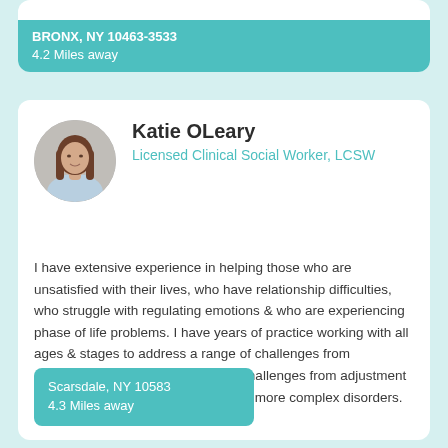BRONX, NY 10463-3533
4.2 Miles away
[Figure (photo): Circular profile photo of Katie OLeary, a woman with long brown hair wearing a light blue top]
Katie OLeary
Licensed Clinical Social Worker, LCSW
I have extensive experience in helping those who are unsatisfied with their lives, who have relationship difficulties, who struggle with regulating emotions & who are experiencing phase of life problems. I have years of practice working with all ages & stages to address a range of challenges from adjustment struggles & behavioral challenges from adjustment struggles & behavioral challenges to more complex disorders.
Scarsdale, NY 10583
4.3 Miles away